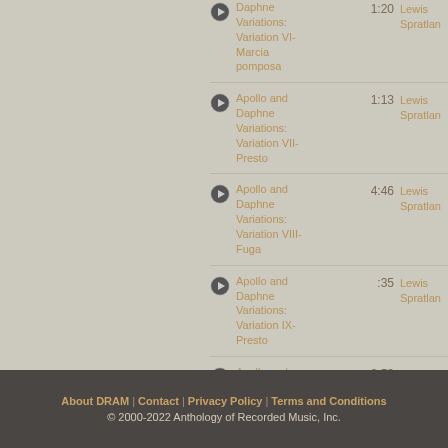Apollo and Daphne Variations: Variation VI- Marcia pomposa | 1:20 | Lewis Spratlan
Apollo and Daphne Variations: Variation VII- Presto | 1:13 | Lewis Spratlan
Apollo and Daphne Variations: Variation VIII- Fuga | 4:46 | Lewis Spratlan
Apollo and Daphne Variations: Variation IX- Presto | :35 | Lewis Spratlan
Apollo and Daphne Variations: Variation X and Coda | 2:53 | Lewis Spratlan
About DRAM | Contact | Privacy Policy | Terms and Conditions
© 2000-2022 Anthology of Recorded Music, Inc.